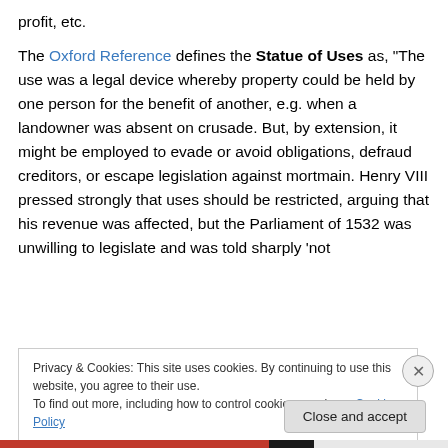profit, etc.
The Oxford Reference defines the Statue of Uses as, “The use was a legal device whereby property could be held by one person for the benefit of another, e.g. when a landowner was absent on crusade. But, by extension, it might be employed to evade or avoid obligations, defraud creditors, or escape legislation against mortmain. Henry VIII pressed strongly that uses should be restricted, arguing that his revenue was affected, but the Parliament of 1532 was unwilling to legislate and was told sharply ‘not
Privacy & Cookies: This site uses cookies. By continuing to use this website, you agree to their use.
To find out more, including how to control cookies, see here: Cookie Policy
Close and accept